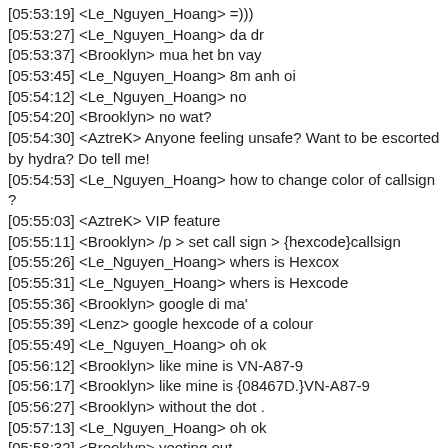[05:53:19] <Le_Nguyen_Hoang> =)))
[05:53:27] <Le_Nguyen_Hoang> da dr
[05:53:37] <Brooklyn> mua het bn vay
[05:53:45] <Le_Nguyen_Hoang> 8m anh oi
[05:54:12] <Le_Nguyen_Hoang> no
[05:54:20] <Brooklyn> no wat?
[05:54:30] <AztreK> Anyone feeling unsafe? Want to be escorted by hydra? Do tell me!
[05:54:53] <Le_Nguyen_Hoang> how to change color of callsign ?
[05:55:03] <AztreK> VIP feature
[05:55:11] <Brooklyn> /p > set call sign > {hexcode}callsign
[05:55:26] <Le_Nguyen_Hoang> whers is Hexcox
[05:55:31] <Le_Nguyen_Hoang> whers is Hexcode
[05:55:36] <Brooklyn> google di ma'
[05:55:39] <Lenz> google hexcode of a colour
[05:55:49] <Le_Nguyen_Hoang> oh ok
[05:56:12] <Brooklyn> like mine is VN-A87-9
[05:56:17] <Brooklyn> like mine is {08467D.}VN-A87-9
[05:56:27] <Brooklyn> without the dot .
[05:57:13] <Le_Nguyen_Hoang> oh ok
[05:58:32] <Brooklyn> yeeting out
[05:58:34] <-- Brooklyn disconnected from the server
[05:59:58] <Lenz> without the .
[06:01:04] <akiyamaha> !missions cargodrop